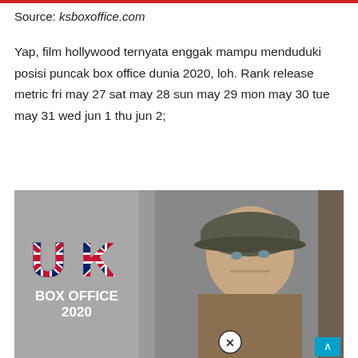Source: ksboxoffice.com
Yap, film hollywood ternyata enggak mampu menduduki posisi puncak box office dunia 2020, loh. Rank release metric fri may 27 sat may 28 sun may 29 mon may 30 tue may 31 wed jun 1 thu jun 2;
[Figure (photo): UK Box Office 2020 promotional image showing a soldier in a WWII helmet on the right side, and on the left side a grey panel with 'UK' in Union Jack flag colors and 'BOX OFFICE 2020' text in white below. A close button (X in circle) appears at the bottom center, and a blue scroll-up arrow button at bottom right.]